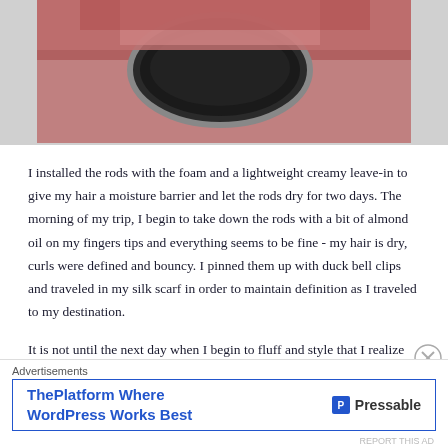[Figure (photo): A photo showing a pink/red towel or cloth near a metal bowl or pot, shot from above in a bathroom setting.]
I installed the rods with the foam and a lightweight creamy leave-in to give my hair a moisture barrier and let the rods dry for two days. The morning of my trip, I begin to take down the rods with a bit of almond oil on my fingers tips and everything seems to be fine - my hair is dry, curls were defined and bouncy. I pinned them up with duck bell clips and traveled in my silk scarf in order to maintain definition as I traveled to my destination.
It is not until the next day when I begin to fluff and style that I realize my hair looked like the north pole.
Advertisements
[Figure (logo): Pressable advertisement banner reading 'ThePlatform Where WordPress Works Best' with Pressable logo]